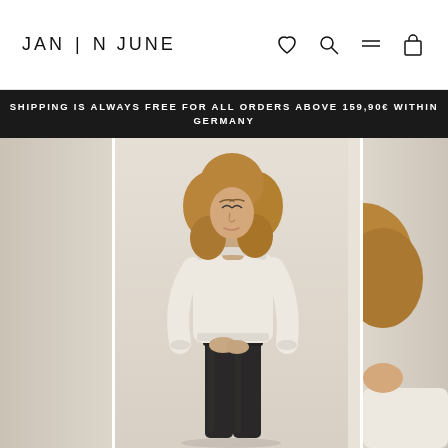JAN N JUNE
SHIPPING IS ALWAYS FREE FOR ALL ORDERS ABOVE 159,90€ WITHIN GERMANY
[Figure (photo): Fashion e-commerce website screenshot showing a young male model with curly shoulder-length hair wearing a cream/off-white oversized sweatshirt and dark skinny jeans, standing against a light beige background. Partial images of another model visible on the sides.]